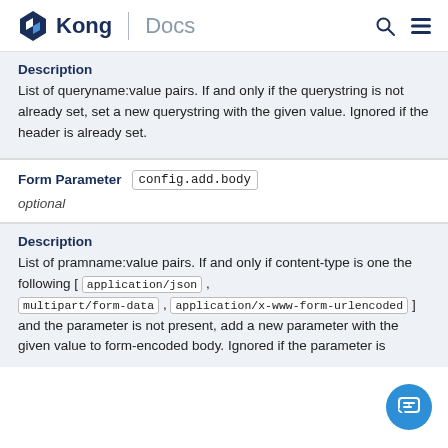Kong | Docs
Description
List of queryname:value pairs. If and only if the querystring is not already set, set a new querystring with the given value. Ignored if the header is already set.
| Form Parameter |  |
| --- | --- |
| config.add.body |  |
| optional |  |
Description
List of pramname:value pairs. If and only if content-type is one the following [ application/json , multipart/form-data , application/x-www-form-urlencoded ] and the parameter is not present, add a new parameter with the given value to form-encoded body. Ignored if the parameter is